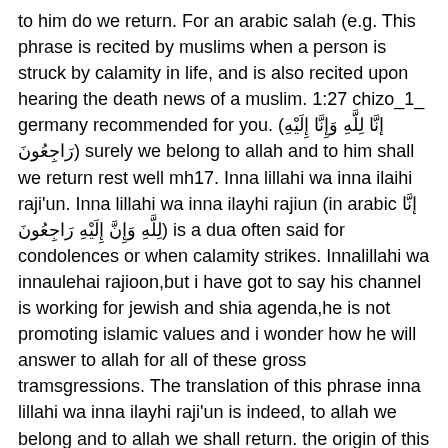to him do we return. For an arabic salah (e.g. This phrase is recited by muslims when a person is struck by calamity in life, and is also recited upon hearing the death news of a muslim. 1:27 chizo_1_ germany recommended for you. (إنَّا لِلَّهِ وَإِنَّا إِلَيْهِ رَاجِعُونَ) surely we belong to allah and to him shall we return rest well mh17. Inna lillahi wa inna ilaihi raji'un. Inna lillahi wa inna ilayhi rajiun (in arabic إنَّا لِلَّهِ وَإِنَّ إِلَيْهِ رَاجِعُونَ) is a dua often said for condolences or when calamity strikes. Innalillahi wa innaulehai rajioon,but i have got to say his channel is working for jewish and shia agenda,he is not promoting islamic values and i wonder how he will answer to allah for all of these gross tramsgressions. The translation of this phrase inna lillahi wa inna ilayhi raji'un is indeed, to allah we belong and to allah we shall return. the origin of this dua or saying comes from the quran. Inna lillahi wa inna ilayhi raji'un (arabic: 1:41 salt&pepper/و ملح 157 9 فلفل просмотров.